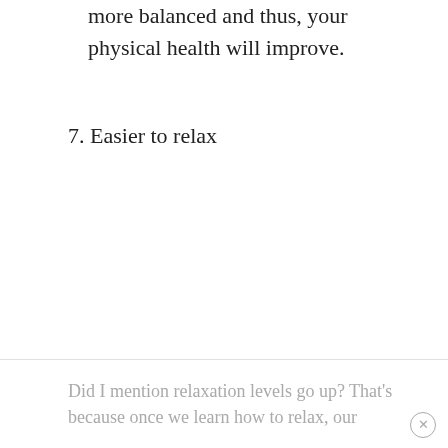more balanced and thus, your physical health will improve.
7. Easier to relax
Did I mention relaxation levels go up? That's because once we learn how to relax, our